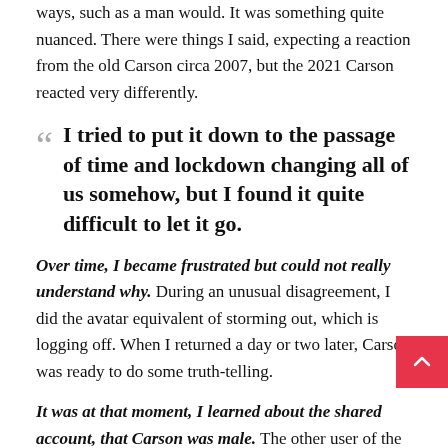ways, such as a man would. It was something quite nuanced. There were things I said, expecting a reaction from the old Carson circa 2007, but the 2021 Carson reacted very differently.
I tried to put it down to the passage of time and lockdown changing all of us somehow, but I found it quite difficult to let it go.
Over time, I became frustrated but could not really understand why. During an unusual disagreement, I did the avatar equivalent of storming out, which is logging off. When I returned a day or two later, Carson was ready to do some truth-telling.
It was at that moment, I learned about the shared account, that Carson was male. The other user of the account had been his real life female counterpart, who had claimed